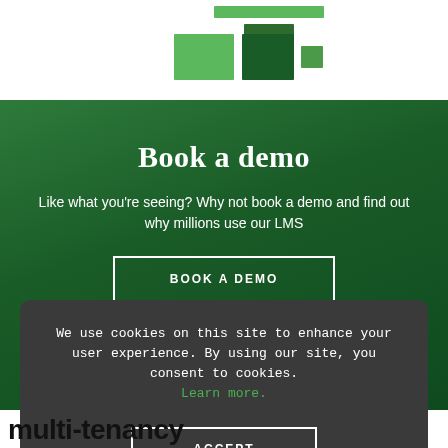[Figure (logo): Green logo made of colored squares/rectangles in shades of green]
Book a demo
Like what you're seeing? Why not book a demo and find out why millions use our LMS
BOOK A DEMO
We use cookies on this site to enhance your user experience. By using our site, you consent to cookies. Learn more.
ACCEPT
multi-tenancy